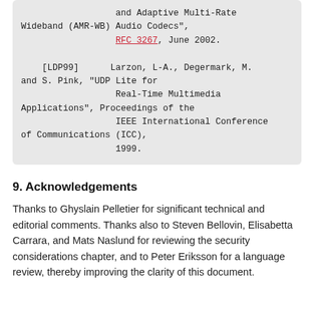and Adaptive Multi-Rate Wideband (AMR-WB) Audio Codecs", RFC 3267, June 2002.

[LDP99]      Larzon, L-A., Degermark, M. and S. Pink, "UDP Lite for Real-Time Multimedia Applications", Proceedings of the IEEE International Conference of Communications (ICC), 1999.
9. Acknowledgements
Thanks to Ghyslain Pelletier for significant technical and editorial comments. Thanks also to Steven Bellovin, Elisabetta Carrara, and Mats Naslund for reviewing the security considerations chapter, and to Peter Eriksson for a language review, thereby improving the clarity of this document.